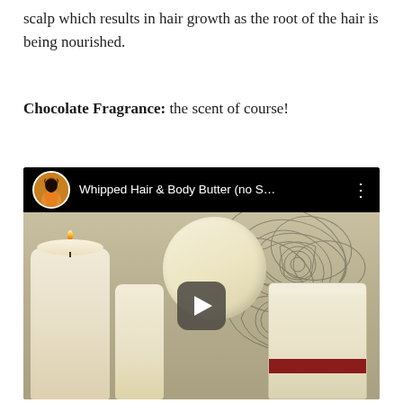scalp which results in hair growth as the root of the hair is being nourished.
Chocolate Fragrance: the scent of course!
[Figure (screenshot): Embedded YouTube video thumbnail showing whipped hair and body butter products — a candle, a bottle, a jar lid, and a jar with a red stripe on a decorative mandala background. Video title: 'Whipped Hair & Body Butter (no S...' with channel avatar of a woman in orange dress.]